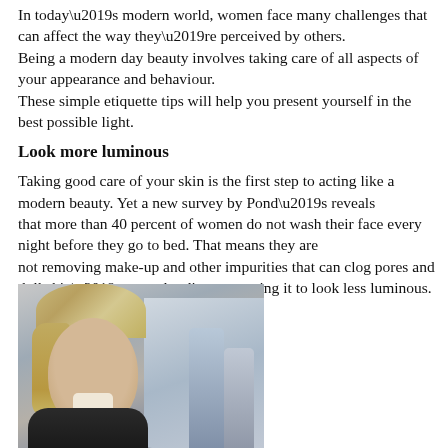In today’s modern world, women face many challenges that can affect the way they’re perceived by others.
Being a modern day beauty involves taking care of all aspects of your appearance and behaviour.
These simple etiquette tips will help you present yourself in the best possible light.
Look more luminous
Taking good care of your skin is the first step to acting like a modern beauty. Yet a new survey by Pond’s reveals that more than 40 percent of women do not wash their face every night before they go to bed. That means they are not removing make-up and other impurities that can clog pores and dull skin’s natural radiance, causing it to look less luminous.
Be perfectly punctual
[Figure (photo): Professional woman with blonde hair smiling, with blurred figures in background]